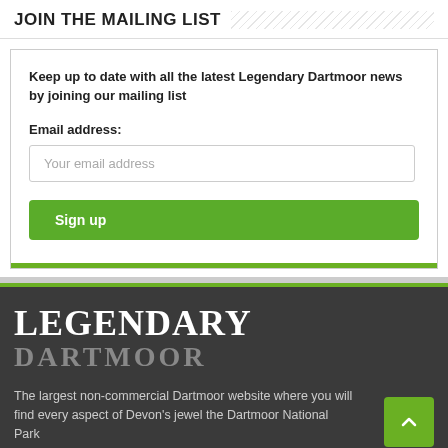JOIN THE MAILING LIST
Keep up to date with all the latest Legendary Dartmoor news by joining our mailing list
Email address:
Your email address
Sign up
[Figure (logo): Legendary Dartmoor logo in white and grey text on dark background]
The largest non-commercial Dartmoor website where you will find every aspect of Devon's jewel the Dartmoor National Park